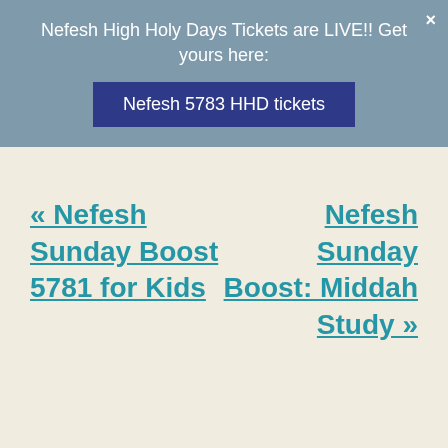Nefesh High Holy Days Tickets are LIVE!! Get yours here:
Nefesh 5783 HHD tickets
« Nefesh Sunday Boost 5781 for Kids
Nefesh Sunday Boost: Middah Study »
Nefesh   Los Angeles Jewish Community